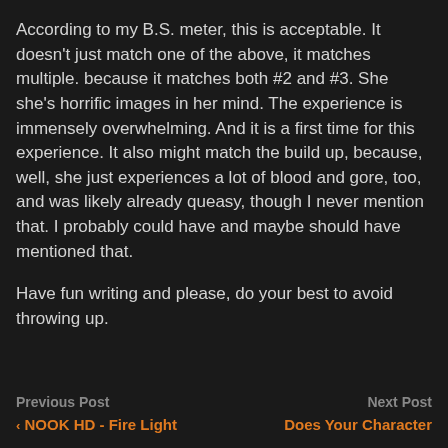According to my B.S. meter, this is acceptable. It doesn't just match one of the above, it matches multiple. because it matches both #2 and #3. She she's horrific images in her mind. The experience is immensely overwhelming. And it is a first time for this experience. It also might match the build up, because, well, she just experiences a lot of blood and gore, too, and was likely already queasy, though I never mention that. I probably could have and maybe should have mentioned that.
Have fun writing and please, do your best to avoid throwing up.
Previous Post
< NOOK HD - Fire Light

Next Post
Does Your Character